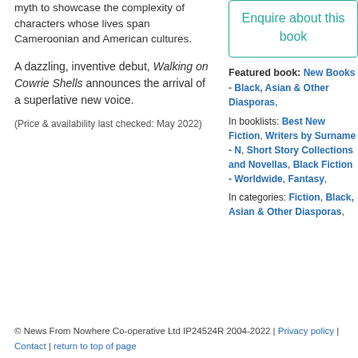myth to showcase the complexity of characters whose lives span Cameroonian and American cultures.
A dazzling, inventive debut, Walking on Cowrie Shells announces the arrival of a superlative new voice.
(Price & availability last checked: May 2022)
Enquire about this book
Featured book: New Books - Black, Asian & Other Diasporas, In booklists: Best New Fiction, Writers by Surname - N, Short Story Collections and Novellas, Black Fiction - Worldwide, Fantasy, In categories: Fiction, Black, Asian & Other Diasporas,
© News From Nowhere Co-operative Ltd IP24524R 2004-2022 | Privacy policy | Contact | return to top of page